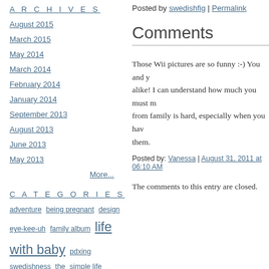ARCHIVES
August 2015
March 2015
May 2014
March 2014
February 2014
January 2014
September 2013
August 2013
June 2013
May 2013
More...
CATEGORIES
adventure  being pregnant  design  eye-kee-uh  family album  life with baby  pdxing  swedishness  the  the simple life  the sweden years
Posted by swedishfig | Permalink
Comments
Those Wii pictures are so funny :-) You and y... alike! I can understand how much you must m... from family is hard, especially when you hav... them.
Posted by: Vanessa | August 31, 2011 at 06:10 AM
The comments to this entry are closed.